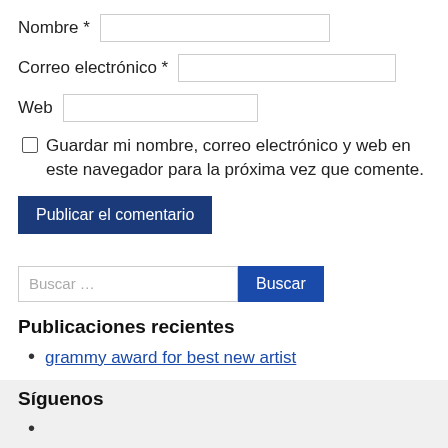Nombre *
Correo electrónico *
Web
Guardar mi nombre, correo electrónico y web en este navegador para la próxima vez que comente.
Publicar el comentario
Buscar …
Buscar
Publicaciones recientes
grammy award for best new artist
Síguenos
Comunícate con nosotros